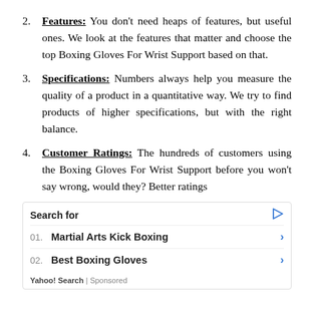Features: You don't need heaps of features, but useful ones. We look at the features that matter and choose the top Boxing Gloves For Wrist Support based on that.
Specifications: Numbers always help you measure the quality of a product in a quantitative way. We try to find products of higher specifications, but with the right balance.
Customer Ratings: The hundreds of customers using the Boxing Gloves For Wrist Support before you won't say wrong, would they? Better ratings
Search for
01. Martial Arts Kick Boxing
02. Best Boxing Gloves
Yahoo! Search | Sponsored